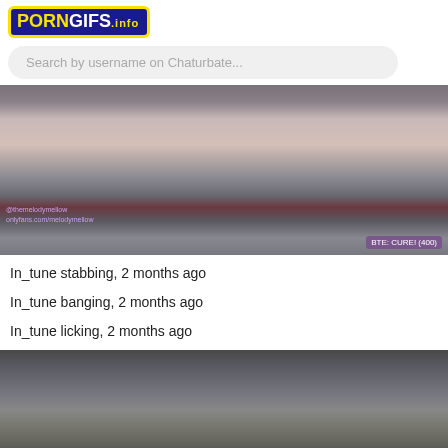[Figure (logo): PORNGIFS.INFO logo with yellow border on dark blue background]
Search by username on Chaturbate...
[Figure (photo): Close-up photo of a person's midsection showing bare stomach with jeans being pulled down revealing red underwear. Watermark text @themelodymellow and onlyfans.com/melodymellow on left, BTE: CURE! (400) on right.]
In_tune stabbing, 2 months ago
In_tune banging, 2 months ago
In_tune licking, 2 months ago
[Figure (photo): Partial view of a person in dark clothing and fishnet stockings.]